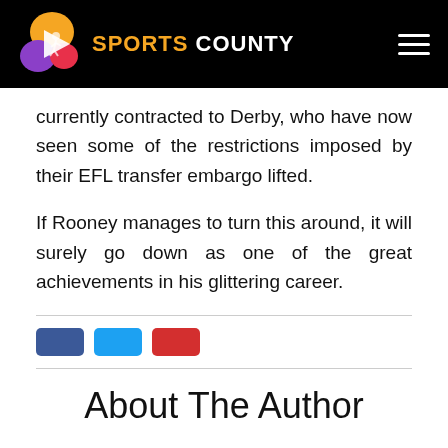SPORTS COUNTY
currently contracted to Derby, who have now seen some of the restrictions imposed by their EFL transfer embargo lifted.
If Rooney manages to turn this around, it will surely go down as one of the great achievements in his glittering career.
[Figure (other): Social media share buttons: Facebook (blue), Twitter (light blue), YouTube (red)]
About The Author